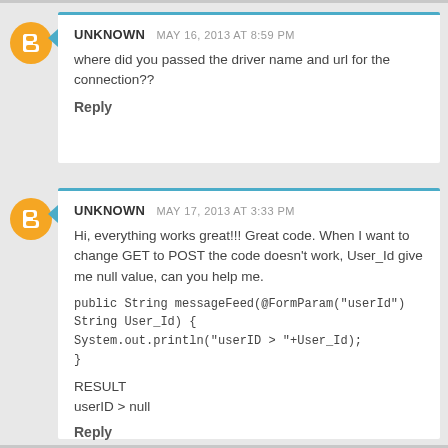UNKNOWN MAY 16, 2013 AT 8:59 PM
where did you passed the driver name and url for the connection??
Reply
UNKNOWN MAY 17, 2013 AT 3:33 PM
Hi, everything works great!!! Great code. When I want to change GET to POST the code doesn't work, User_Id give me null value, can you help me.
public String messageFeed(@FormParam("userId") String User_Id) {
System.out.println("userID > "+User_Id);
}
RESULT
userID > null
Reply